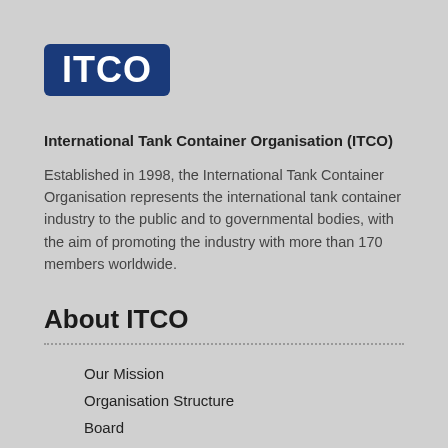[Figure (logo): ITCO logo — white bold text 'ITCO' on dark blue rounded rectangle background]
International Tank Container Organisation (ITCO)
Established in 1998, the International Tank Container Organisation represents the international tank container industry to the public and to governmental bodies, with the aim of promoting the industry with more than 170 members worldwide.
About ITCO
Our Mission
Organisation Structure
Board